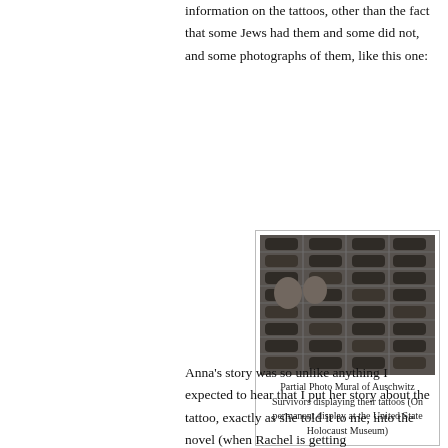information on the tattoos, other than the fact that some Jews had them and some did not, and some photographs of them, like this one:
[Figure (photo): Black and white partial photo mural showing arms of Auschwitz survivors displaying their tattoos, arranged in a grid pattern]
Partial Photo Mural of Auschwitz Survivors displaying their tattoos (On permanent display at the United State Holocaust Museum)
Anna's story was so unlike anything I expected to hear that I put her story about the tattoo, exactly as she told it to me, into the novel (when Rachel is getting